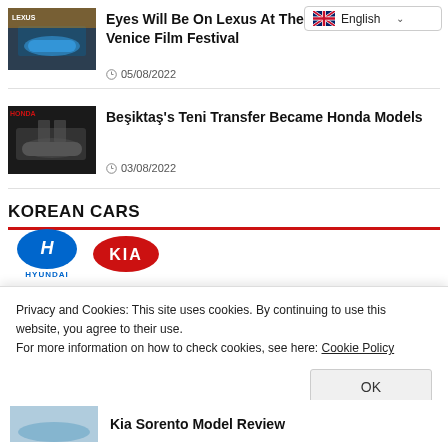[Figure (screenshot): Language selector widget showing English with flag icon and dropdown arrow]
[Figure (photo): Thumbnail of a car (Lexus) being photographed through a phone]
Eyes Will Be On Lexus At The Venice Film Festival
05/08/2022
[Figure (photo): Thumbnail showing Honda car with people at an event]
Beşiktaş's Teni Transfer Became Honda Models
03/08/2022
KOREAN CARS
[Figure (logo): Hyundai and KIA logos side by side]
Privacy and Cookies: This site uses cookies. By continuing to use this website, you agree to their use.
For more information on how to check cookies, see here: Cookie Policy
OK
Kia Sorento Model Review